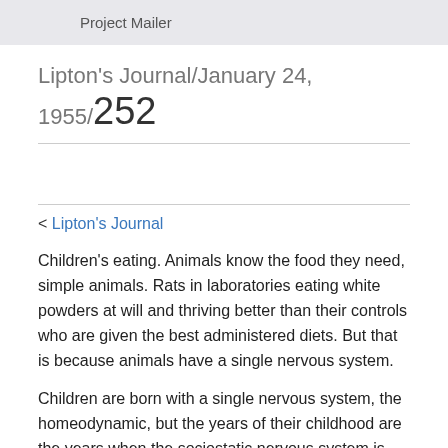Project Mailer
Lipton's Journal/January 24, 1955/252
< Lipton's Journal
Children's eating. Animals know the food they need, simple animals. Rats in laboratories eating white powders at will and thriving better than their controls who are given the best administered diets. But that is because animals have a single nervous system.
Children are born with a single nervous system, the homeodynamic, but the years of their childhood are the years when the sociostatic nervous system is set into the child, beside the homeodynamic nervous system.